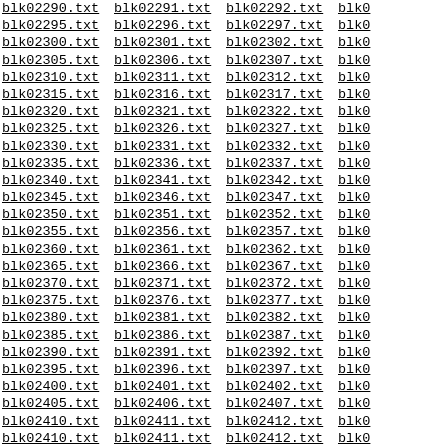blk02290.txt blk02291.txt blk02292.txt blk0... blk02295.txt blk02296.txt blk02297.txt blk0... blk02300.txt blk02301.txt blk02302.txt blk0... blk02305.txt blk02306.txt blk02307.txt blk0... blk02310.txt blk02311.txt blk02312.txt blk0... blk02315.txt blk02316.txt blk02317.txt blk0... blk02320.txt blk02321.txt blk02322.txt blk0... blk02325.txt blk02326.txt blk02327.txt blk0... blk02330.txt blk02331.txt blk02332.txt blk0... blk02335.txt blk02336.txt blk02337.txt blk0... blk02340.txt blk02341.txt blk02342.txt blk0... blk02345.txt blk02346.txt blk02347.txt blk0... blk02350.txt blk02351.txt blk02352.txt blk0... blk02355.txt blk02356.txt blk02357.txt blk0... blk02360.txt blk02361.txt blk02362.txt blk0... blk02365.txt blk02366.txt blk02367.txt blk0... blk02370.txt blk02371.txt blk02372.txt blk0... blk02375.txt blk02376.txt blk02377.txt blk0... blk02380.txt blk02381.txt blk02382.txt blk0... blk02385.txt blk02386.txt blk02387.txt blk0... blk02390.txt blk02391.txt blk02392.txt blk0... blk02395.txt blk02396.txt blk02397.txt blk0... blk02400.txt blk02401.txt blk02402.txt blk0... blk02405.txt blk02406.txt blk02407.txt blk0... blk02410.txt blk02411.txt blk02412.txt blk0...